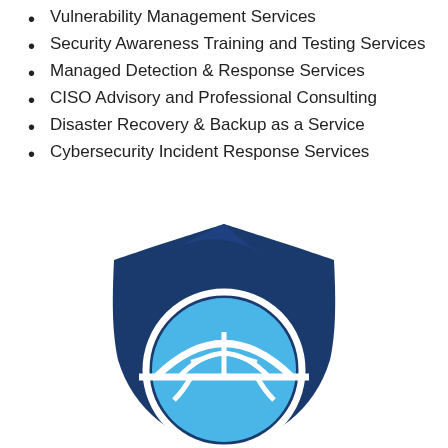Vulnerability Management Services
Security Awareness Training and Testing Services
Managed Detection & Response Services
CISO Advisory and Professional Consulting
Disaster Recovery & Backup as a Service
Cybersecurity Incident Response Services
[Figure (logo): Dark blue shield logo with a light blue circle containing a white bridge/arch icon in the center]